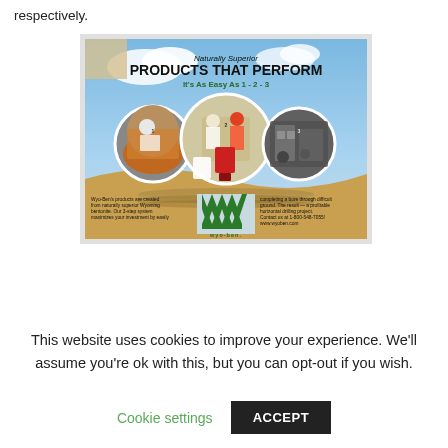respectively.
[Figure (advertisement): Wyo-Ben advertisement: 'Naturally Superior PRODUCTS THAT PERFORM It's As Easy As 1 - 2 - 3'. Shows three circular photos of construction/drilling workers. Bottom text: Wyo-Ben's products are created from naturally superior Wyoming bentonite. Our 3-step system maximizes your investment by easily completing a bore through difficult ground. The result — a profitable horizontal drilling project. Contact us at 1-800-548-7055! www.wyoben.com. Wyo-Ben logo with green chevron mark.]
This website uses cookies to improve your experience. We'll assume you're ok with this, but you can opt-out if you wish.
Cookie settings
ACCEPT